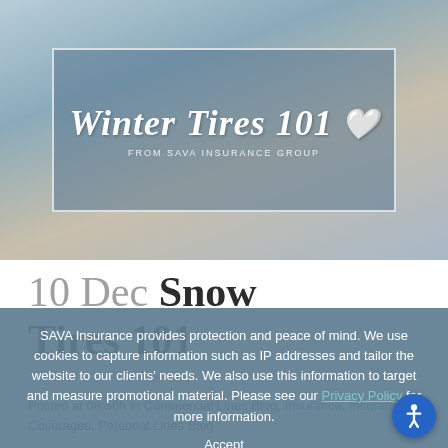[Figure (illustration): Winter Tires 101 banner from SAVA Insurance Group — dark blue/grey textured background with white italic bold title text and a heart icon, bordered rectangle overlay]
10 Dec Snow Tires 101
Posted at 08:56h in Commercial Lines Blog, Insurance, Insurance Coverages, Personal Lines Blog
Uncategorized · sava · 0 Comments · 0 Likes
SAVA Insurance provides protection and peace of mind. We use cookies to capture information such as IP addresses and tailor the website to our clients' needs. We also use this information to target and measure promotional material. Please see our Privacy Policy for more information.
As the roads get slushy, icy and snowy we have to make sure that our